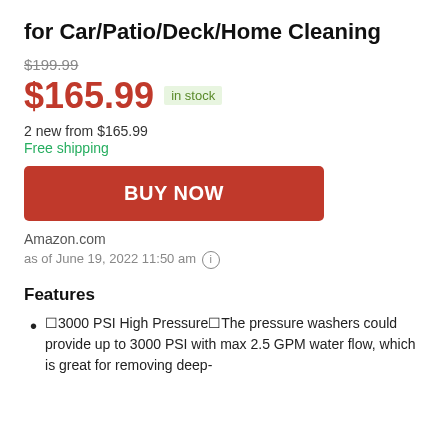for Car/Patio/Deck/Home Cleaning
$199.99
$165.99 in stock
2 new from $165.99
Free shipping
BUY NOW
Amazon.com
as of June 19, 2022 11:50 am
Features
🔲3000 PSI High Pressure🔲The pressure washers could provide up to 3000 PSI with max 2.5 GPM water flow, which is great for removing deep-